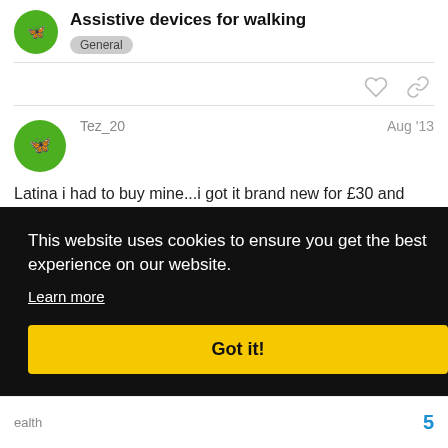Assistive devices for walking
General
Tez_20
Aug '13
Latina i had to buy mine...i got it brand new for £30 and that was good as they can run expensive here...the ones i've had in the past are the ones with just the rubber footings and [partially obscured] dly [partially obscured] ol
This website uses cookies to ensure you get the best experience on our website. Learn more Got it!
ealth
5